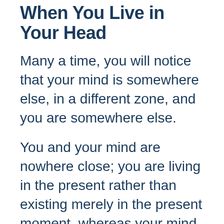When You Live in Your Head
Many a time, you will notice that your mind is somewhere else, in a different zone, and you are somewhere else.
You and your mind are nowhere close; you are living in the present rather than existing merely in the present moment, whereas your mind is either wandering in the past or has time-machined into the future.
You must learn to get this control over your mind to let it wander and get either into a problem-solving or